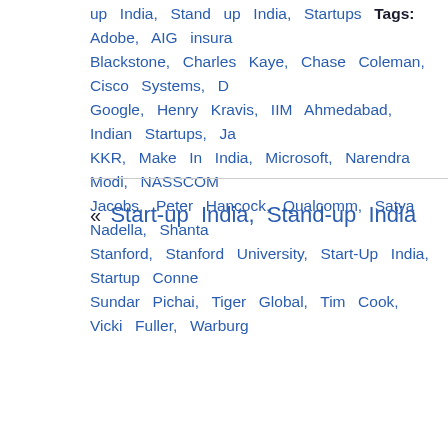up India, Stand up India, Startups Tags: Adobe, AIG insurance, Blackstone, Charles Kaye, Chase Coleman, Cisco Systems, D Google, Henry Kravis, IIM Ahmedabad, Indian Startups, Ja KKR, Make In India, Microsoft, Narendra Modi, NASSCOM Jacobs, Peter Hancock, Qualcomm, Satya Nadella, Shantar Stanford, Stanford University, Start-Up India, Startup Conned Sundar Pichai, Tiger Global, Tim Cook, Vicki Fuller, Warburg
« Start-up India, Stand-up India